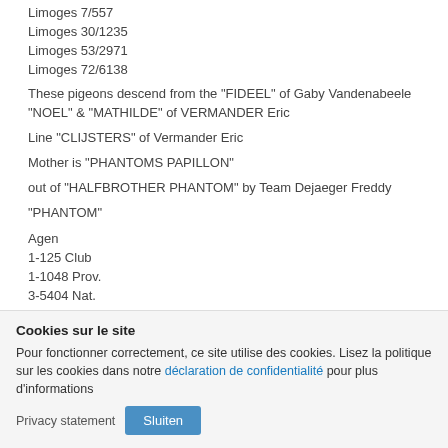Limoges 7/557
Limoges 30/1235
Limoges 53/2971
Limoges 72/6138
These pigeons descend from the "FIDEEL" of Gaby Vandenabeele "NOEL" & "MATHILDE" of VERMANDER Eric
Line "CLIJSTERS" of Vermander Eric
Mother is "PHANTOMS PAPILLON"
out of "HALFBROTHER PHANTOM" by Team Dejaeger Freddy
"PHANTOM"
Agen
1-125 Club
1-1048 Prov.
3-5404 Nat.
3-13030 Int.Nat. Agen
Bourges 1-786 Club
Kl. son "TSUNAMI" Gaby Vandenabeele
Cookies sur le site
Pour fonctionner correctement, ce site utilise des cookies. Lisez la politique sur les cookies dans notre déclaration de confidentialité pour plus d'informations
Privacy statement   Sluiten